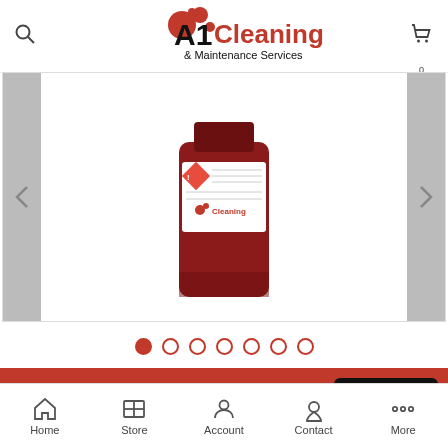[Figure (logo): A1 Cleaning & Maintenance Services logo with red circles/bubbles graphic]
[Figure (photo): A red plastic cleaning product bottle with white label showing hazard symbols and A1 Cleaning branding]
This website uses cookies to ensure you get the best experience on our website. Learn More
GOT IT!
Home
Store
Account
Contact
More